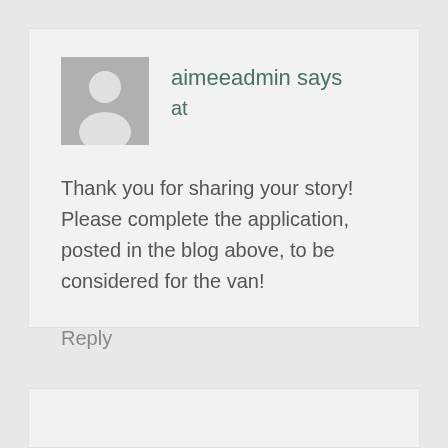[Figure (illustration): Default user avatar placeholder — grey silhouette of a person on grey background]
aimeeadmin says
at
Thank you for sharing your story! Please complete the application, posted in the blog above, to be considered for the van!
Reply